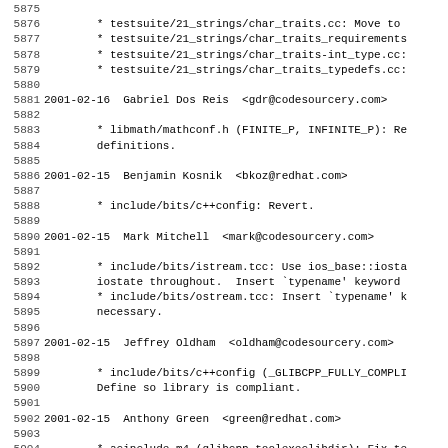Changelog/code commit log excerpt, lines 5875-5906
5875 (blank)
5876     * testsuite/21_strings/char_traits.cc: Move to
5877     * testsuite/21_strings/char_traits_requirements
5878     * testsuite/21_strings/char_traits-int_type.cc:
5879     * testsuite/21_strings/char_traits_typedefs.cc:
5880 (blank)
5881 2001-02-16  Gabriel Dos Reis  <gdr@codesourcery.com>
5882 (blank)
5883     * libmath/mathconf.h (FINITE_P, INFINITE_P): Re
5884     definitions.
5885 (blank)
5886 2001-02-15  Benjamin Kosnik  <bkoz@redhat.com>
5887 (blank)
5888     * include/bits/c++config: Revert.
5889 (blank)
5890 2001-02-15  Mark Mitchell  <mark@codesourcery.com>
5891 (blank)
5892     * include/bits/istream.tcc: Use ios_base::iosta
5893     iostate throughout.  Insert `typename' keyword
5894     * include/bits/ostream.tcc: Insert `typename' k
5895     necessary.
5896 (blank)
5897 2001-02-15  Jeffrey Oldham  <oldham@codesourcery.com>
5898 (blank)
5899     * include/bits/c++config (_GLIBCPP_FULLY_COMPLI
5900     Define so library is compliant.
5901 (blank)
5902 2001-02-15  Anthony Green  <green@redhat.com>
5903 (blank)
5904     * acinclude.m4 (glibcpp_toolexeclibdir): Fix te
5905     compilation.
5906     * aclocal.m4: Regenerate.